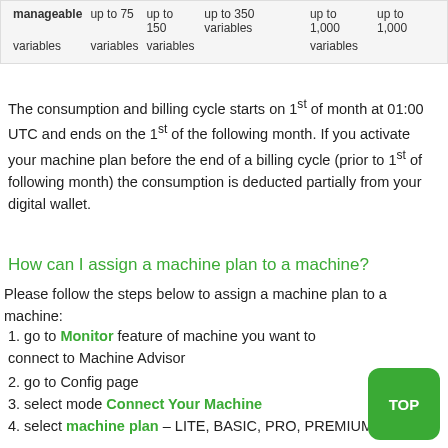| manageable | up to 75 | up to 150 | up to 350 variables | up to 1,000 | up to 1,000 |
| --- | --- | --- | --- | --- | --- |
| variables | variables | variables |  | variables |  |
The consumption and billing cycle starts on 1st of month at 01:00 UTC and ends on the 1st of the following month. If you activate your machine plan before the end of a billing cycle (prior to 1st of following month) the consumption is deducted partially from your digital wallet.
How can I assign a machine plan to a machine?
Please follow the steps below to assign a machine plan to a machine:
1. go to Monitor feature of machine you want to connect to Machine Advisor
2. go to Config page
3. select mode Connect Your Machine
4. select machine plan – LITE, BASIC, PRO, PREMIUM or